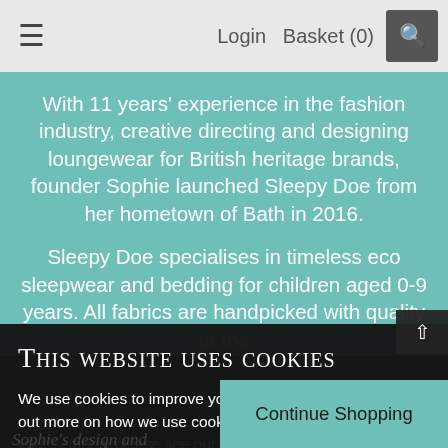≡  Login  Basket (0)  🔍
With 11 years' experience in the fashion industry, creative directing and designing loungewear for British heritage brands, founder Sophie launched Sleepy Doe from her hometown of Bath in 2016.

Sleepy Doe specialises in timeless eco sleepwear and bedding for children aged 0-9 years. All fabrics are handpicked with quality at the forefront and products are carefully designed with cosy, long-lasting comfort with an effortless style to the mini bedtime routine.
This website uses cookies
We use cookies to improve your user experience. To find out more on how we use cookies and how you can manage your settings, please see our Cookie Policy.
Sophie's design and manufacturing expertise ensures Sleepy Doe prioritises style. All collections are made using the sort
Continue Shopping